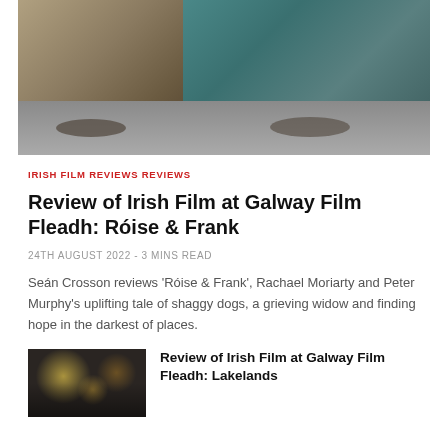[Figure (photo): A dog eating from a plate at a table alongside a person in a teal/blue knit sweater also eating, restaurant or home dining setting]
IRISH FILM REVIEWS REVIEWS
Review of Irish Film at Galway Film Fleadh: Róise & Frank
24TH AUGUST 2022 - 3 MINS READ
Seán Crosson reviews 'Róise & Frank', Rachael Moriarty and Peter Murphy's uplifting tale of shaggy dogs, a grieving widow and finding hope in the darkest of places.
[Figure (photo): A dimly lit scene with warm bokeh lights in background, appears to be an indoor gathering or event]
Review of Irish Film at Galway Film Fleadh: Lakelands